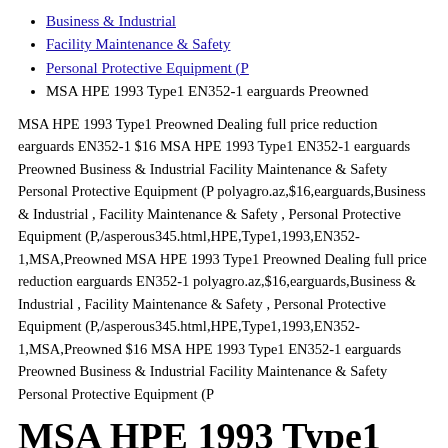Business & Industrial
Facility Maintenance & Safety
Personal Protective Equipment (P
MSA HPE 1993 Type1 EN352-1 earguards Preowned
MSA HPE 1993 Type1 Preowned Dealing full price reduction earguards EN352-1 $16 MSA HPE 1993 Type1 EN352-1 earguards Preowned Business & Industrial Facility Maintenance & Safety Personal Protective Equipment (P polyagro.az,$16,earguards,Business & Industrial , Facility Maintenance & Safety , Personal Protective Equipment (P,/asperous345.html,HPE,Type1,1993,EN352-1,MSA,Preowned MSA HPE 1993 Type1 Preowned Dealing full price reduction earguards EN352-1 polyagro.az,$16,earguards,Business & Industrial , Facility Maintenance & Safety , Personal Protective Equipment (P,/asperous345.html,HPE,Type1,1993,EN352-1,MSA,Preowned $16 MSA HPE 1993 Type1 EN352-1 earguards Preowned Business & Industrial Facility Maintenance & Safety Personal Protective Equipment (P
MSA HPE 1993 Type1 EN352-1 earguards Preowned